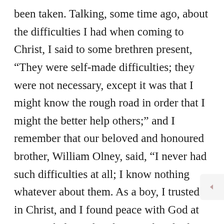been taken. Talking, some time ago, about the difficulties I had when coming to Christ, I said to some brethren present, “They were self-made difficulties; they were not necessary, except it was that I might know the rough road in order that I might the better help others;” and I remember that our beloved and honoured brother, William Olney, said, “I never had such difficulties at all; I know nothing whatever about them. As a boy, I trusted in Christ, and I found peace with God at once.” I believe that there are hundreds